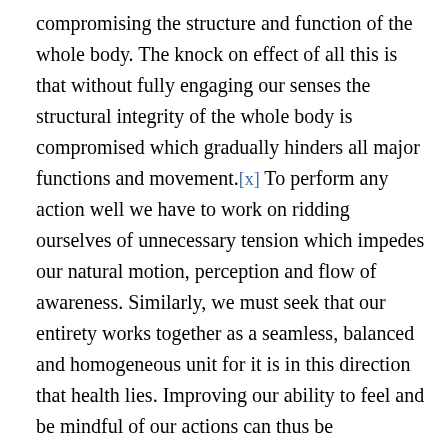compromising the structure and function of the whole body. The knock on effect of all this is that without fully engaging our senses the structural integrity of the whole body is compromised which gradually hinders all major functions and movement.[x] To perform any action well we have to work on ridding ourselves of unnecessary tension which impedes our natural motion, perception and flow of awareness. Similarly, we must seek that our entirety works together as a seamless, balanced and homogeneous unit for it is in this direction that health lies. Improving our ability to feel and be mindful of our actions can thus be fundamental to how we improve our health. It all comes down awareness: the essential tool of the mind that firmly roots it back into the body. Not only does such awareness training foster a healthy body free from restriction and pain but also serves as an incredible tool for calming the